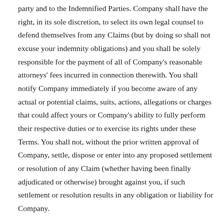party and to the Indemnified Parties. Company shall have the right, in its sole discretion, to select its own legal counsel to defend themselves from any Claims (but by doing so shall not excuse your indemnity obligations) and you shall be solely responsible for the payment of all of Company's reasonable attorneys' fees incurred in connection therewith. You shall notify Company immediately if you become aware of any actual or potential claims, suits, actions, allegations or charges that could affect yours or Company's ability to fully perform their respective duties or to exercise its rights under these Terms. You shall not, without the prior written approval of Company, settle, dispose or enter into any proposed settlement or resolution of any Claim (whether having been finally adjudicated or otherwise) brought against you, if such settlement or resolution results in any obligation or liability for Company.